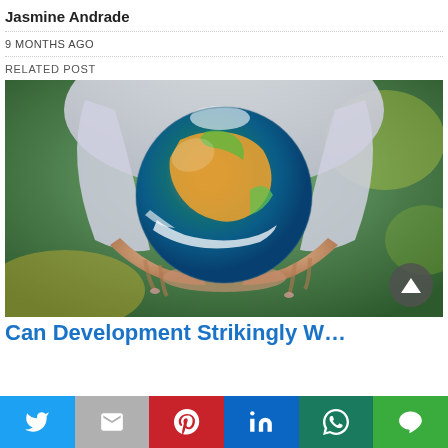Jasmine Andrade
9 MONTHS AGO
RELATED POST
[Figure (photo): Person in white lab coat holding a globe/Earth ball in cupped hands, outdoor green background]
Can Development Strikingly W...
Social share bar: Twitter, Gmail, Pinterest, LinkedIn, WhatsApp, Line